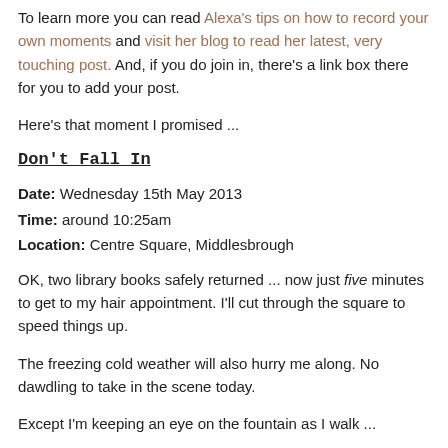To learn more you can read Alexa's tips on how to record your own moments and visit her blog to read her latest, very touching post. And, if you do join in, there's a link box there for you to add your post.
Here's that moment I promised ...
Don't Fall In
Date: Wednesday 15th May 2013
Time: around 10:25am
Location: Centre Square, Middlesbrough
OK, two library books safely returned ... now just five minutes to get to my hair appointment. I'll cut through the square to speed things up.
The freezing cold weather will also hurry me along. No dawdling to take in the scene today.
Except I'm keeping an eye on the fountain as I walk ...